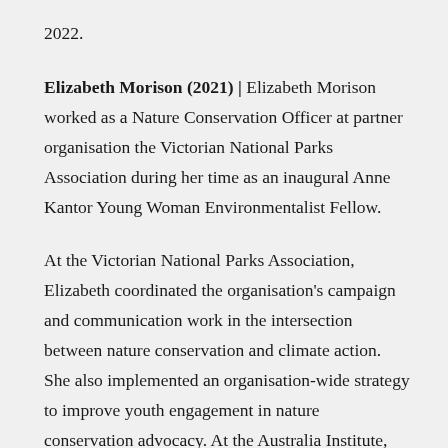2022.
Elizabeth Morison (2021) | Elizabeth Morison worked as a Nature Conservation Officer at partner organisation the Victorian National Parks Association during her time as an inaugural Anne Kantor Young Woman Environmentalist Fellow.
At the Victorian National Parks Association, Elizabeth coordinated the organisation's campaign and communication work in the intersection between nature conservation and climate action. She also implemented an organisation-wide strategy to improve youth engagement in nature conservation advocacy. At the Australia Institute, Elizabeth wrote the environment chapter of the 2022 Budget Wrap, and